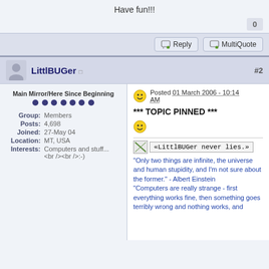Have fun!!!
0
Reply  MultiQuote
LittlBUGer  #2
Main Mirror/Here Since Beginning
Group: Members
Posts: 4,698
Joined: 27-May 04
Location: MT, USA
Interests: Computers and stuff...
<br /><br />:-)
Posted 01 March 2006 - 10:14 AM
*** TOPIC PINNED ***
«LittlBUGer never lies.»
"Only two things are infinite, the universe and human stupidity, and I'm not sure about the former." - Albert Einstein
"Computers are really strange - first everything works fine, then something goes terribly wrong and nothing works, and